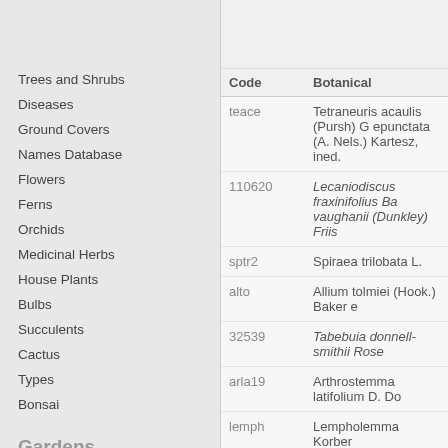Trees and Shrubs
Diseases
Ground Covers
Names Database
Flowers
Ferns
Orchids
Medicinal Herbs
House Plants
Bulbs
Succulents
Cactus
Types
Bonsai
Gardens
Home
Japanese
Pests and Insects
Permaculture
Lawn
Garden How To
Home Improvement
Interior Design
Decorating
House Improvement
Security
Finance
| Code | Botanical |
| --- | --- |
| teace | Tetraneuris acaulis (Pursh) G epunctata (A. Nels.) Kartesz, ined. |
| 110620 | Lecaniodiscus fraxinifolius Ba vaughanii (Dunkley) Friis |
| sptr2 | Spiraea trilobata L. |
| alto | Allium tolmiei (Hook.) Baker e |
| 32539 | Tabebuia donnell-smithii Rose |
| arla19 | Arthrostemma latifolium D. Do |
| lemph | Lempholemma Korber |
| 72562 | Isodictyophorus reticulatus (A J.K.Morton |
| 114706 | Zaluzianskya ovata (Benth.) W |
| bifu | Bidens fulvescens Sherff |
| lasp5 | Lacinaria spicata (L.) Kuntze |
| 32245 | Nuxia saligna (Willd.) Benth. |